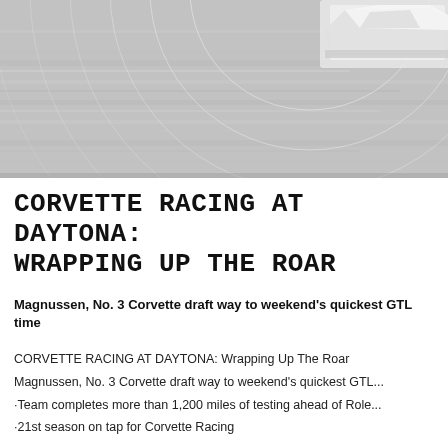[Figure (photo): Top banner hero image showing a blurred grey background with white circular radar/sonar arc lines overlaid, and a partial view of a white Corvette racing car at upper right. The overall tone is silver/grey and white.]
CORVETTE RACING AT DAYTONA: WRAPPING UP THE ROAR
Magnussen, No. 3 Corvette draft way to weekend's quickest GTL time
CORVETTE RACING AT DAYTONA: Wrapping Up The Roar
Magnussen, No. 3 Corvette draft way to weekend's quickest GTL...
·Team completes more than 1,200 miles of testing ahead of Role...
·21st season on tap for Corvette Racing